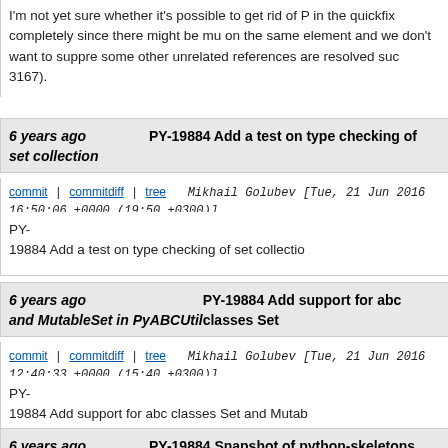I'm not yet sure whether it's possible to get rid of P in the quickfix completely since there might be mu on the same element and we don't want to suppre some other unrelated references are resolved suc 3167).
6 years ago PY-19884 Add a test on type checking of set collection
commit | commitdiff | tree   Mikhail Golubev [Tue, 21 Jun 2016 16:50:06 +0000 (19:50 +0300)]
PY-19884 Add a test on type checking of set collectio
6 years ago PY-19884 Add support for abc classes Set and MutableSet in PyABCUtil
commit | commitdiff | tree   Mikhail Golubev [Tue, 21 Jun 2016 12:40:33 +0000 (15:40 +0300)]
PY-19884 Add support for abc classes Set and Mutab
6 years ago PY-19884 Snapshot of python-skeletons with set/frozenset @ ca4a0c4
commit | commitdiff | tree   Mikhail Golubev [Tue, 21 Jun 2016